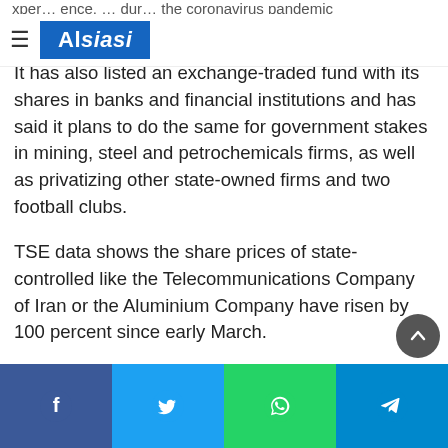Alsiasi
It has also listed an exchange-traded fund with its shares in banks and financial institutions and has said it plans to do the same for government stakes in mining, steel and petrochemicals firms, as well as privatizing other state-owned firms and two football clubs.
TSE data shows the share prices of state-controlled like the Telecommunications Company of Iran or the Aluminium Company have risen by 100 percent since early March.
The sharp devaluation of the rial since 2018 has made foreign imports more expensive and boosted the shares of some local companies, due to rising demand for their products.
Facebook | Twitter | WhatsApp | Telegram